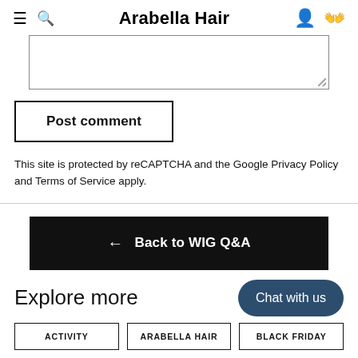Arabella Hair
[Figure (screenshot): Textarea input box for comment, with resize handle in bottom-right corner]
Post comment
This site is protected by reCAPTCHA and the Google Privacy Policy and Terms of Service apply.
← Back to WIG Q&A
Explore more
Chat with us
ACTIVITY
ARABELLA HAIR
BLACK FRIDAY